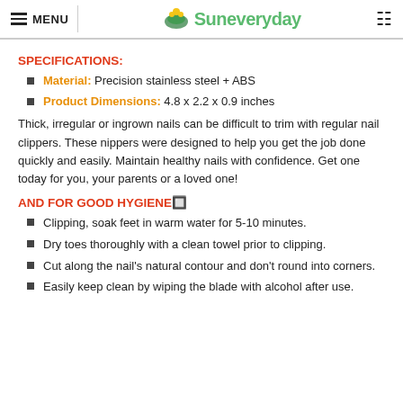MENU | Suneveryday
SPECIFICATIONS:
Material: Precision stainless steel + ABS
Product Dimensions: 4.8 x 2.2 x 0.9 inches
Thick, irregular or ingrown nails can be difficult to trim with regular nail clippers. These nippers were designed to help you get the job done quickly and easily. Maintain healthy nails with confidence. Get one today for you, your parents or a loved one!
AND FOR GOOD HYGIENE🔲
Clipping, soak feet in warm water for 5-10 minutes.
Dry toes thoroughly with a clean towel prior to clipping.
Cut along the nail's natural contour and don't round into corners.
Easily keep clean by wiping the blade with alcohol after use.